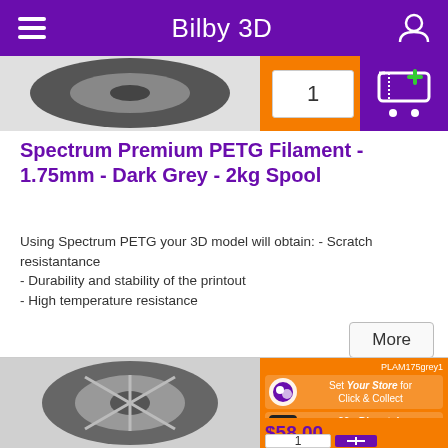Bilby 3D
[Figure (photo): Dark grey filament spool (partial, top view), cropped at top of page]
Spectrum Premium PETG Filament - 1.75mm - Dark Grey - 2kg Spool
Using Spectrum PETG your 3D model will obtain: - Scratch resistantance
- Durability and stability of the printout
- High temperature resistance
More
[Figure (photo): Dark grey 3D printer filament spool]
PLAM175grey1
Set Your Store for Click & Collect
20+ Dispatch Ready
$58.00